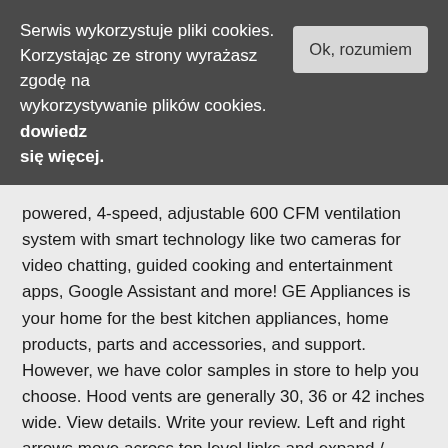Serwis wykorzystuje pliki cookies. Korzystając ze strony wyrażasz zgodę na wykorzystywanie plików cookies. dowiedz się więcej.
Ok, rozumiem
powered, 4-speed, adjustable 600 CFM ventilation system with smart technology like two cameras for video chatting, guided cooking and entertainment apps, Google Assistant and more! GE Appliances is your home for the best kitchen appliances, home products, parts and accessories, and support. However, we have color samples in store to help you choose. Hood vents are generally 30, 36 or 42 inches wide. View details. Write your review. Left and right arrows move across top level links and expand / close menus in sub levels. 30-in Convertible Stainless Steel Undercabinet Range Hood. 98. See Special Offers Learn more about customization. You can order this item directly on our website or in store, with a salesman. Model: KVWB400D. UVC7300SLSS Owner's Manual. Basket with Cell Covers; Full Extension Slides - Upper; 2 short Range Hoods allow for